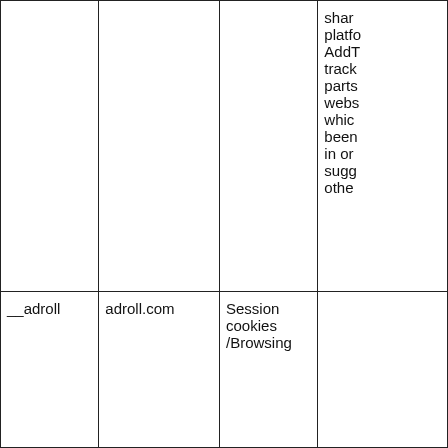|  |  |  | shar platform AddT track parts webs whic been in or sugg othe |
| __adroll | adroll.com | Session cookies /Browsing |  |